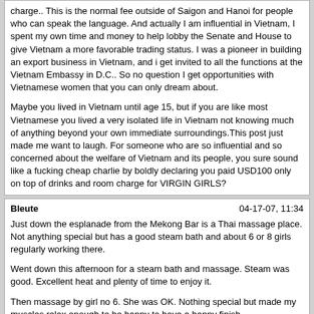charge.. This is the normal fee outside of Saigon and Hanoi for people who can speak the language. And actually I am influential in Vietnam, I spent my own time and money to help lobby the Senate and House to give Vietnam a more favorable trading status. I was a pioneer in building an export business in Vietnam, and i get invited to all the functions at the Vietnam Embassy in D.C.. So no question I get opportunities with Vietnamese women that you can only dream about.

Maybe you lived in Vietnam until age 15, but if you are like most Vietnamese you lived a very isolated life in Vietnam not knowing much of anything beyond your own immediate surroundings.This post just made me want to laugh. For someone who are so influential and so concerned about the welfare of Vietnam and its people, you sure sound like a fucking cheap charlie by boldly declaring you paid USD100 only on top of drinks and room charge for VIRGIN GIRLS?
Bleute | 04-17-07, 11:34

Just down the esplanade from the Mekong Bar is a Thai massage place. Not anything special but has a good steam bath and about 6 or 8 girls regularly working there.

Went down this afternoon for a steam bath and massage. Steam was good. Excellent heat and plenty of time to enjoy it.

Then massage by girl no 6. She was OK. Nothing special but made my muscles relax enough to be happy to have a happy finish.

Yum Yum was started negotiating at 500,000 dong. I offered 200,000. After some more massage and a few looks of absolute horror as I put my wallet away she came to 350,000 which was reasonable. this was about $26 Aus or US $21. So not cheap but not all that expensive.

Blow job was pretty ordinary. No AR and nothing special. When I cum she spat it out and finished with her hand. Nobody seems to take it in their mouth anymore and give AR around here. Have to get back to Jkt.